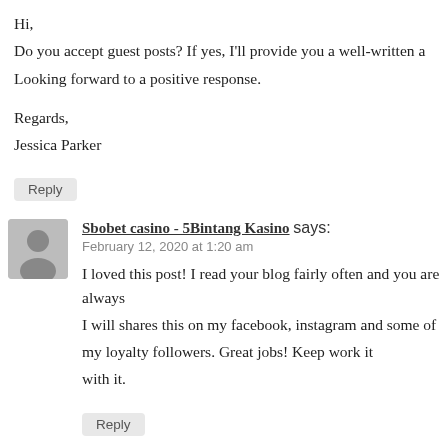Hi,
Do you accept guest posts? If yes, I'll provide you a well-written
Looking forward to a positive response.

Regards,
Jessica Parker
Reply
Sbobet casino - 5Bintang Kasino says:
February 12, 2020 at 1:20 am
I loved this post! I read your blog fairly often and you are always
I will shares this on my facebook, instagram and some of
my loyalty followers. Great jobs! Keep work it
with it.
Reply
Eddieopike says: